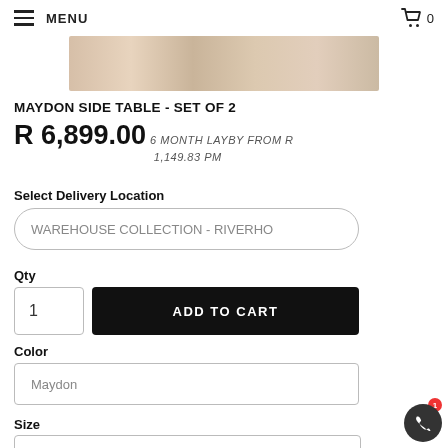MENU  🛒 0
[Figure (photo): Product image strip showing wood grain texture in beige/tan tones for Maydon Side Table]
MAYDON SIDE TABLE - SET OF 2
R 6,899.00  6 MONTH LAYBY FROM R 1,149.83 PM
Select Delivery Location
WAREHOUSE COLLECTION - RIVERHO
Qty
1
ADD TO CART
Color
Maydon
Size